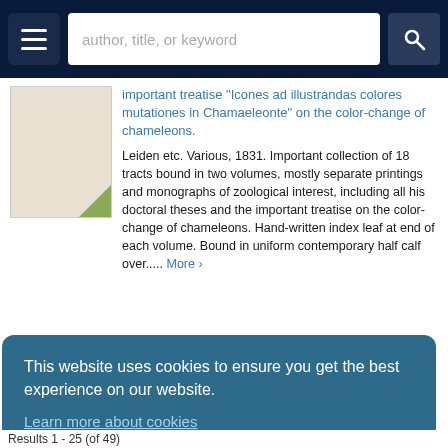author, title, or keyword
important treatise "Icones ad illustrandas colores mutationes in Chamaeleonte" on the color-change of chameleons.
Leiden etc. Various, 1831. Important collection of 18 tracts bound in two volumes, mostly separate printings and monographs of zoological interest, including all his doctoral theses and the important treatise on the color-change of chameleons. Hand-written index leaf at end of each volume. Bound in uniform contemporary half calf over..... More ›
This website uses cookies to ensure you get the best experience on our website.
Learn more about cookies
ACCEPT COOKIES
Results 1 - 25 (of 49)